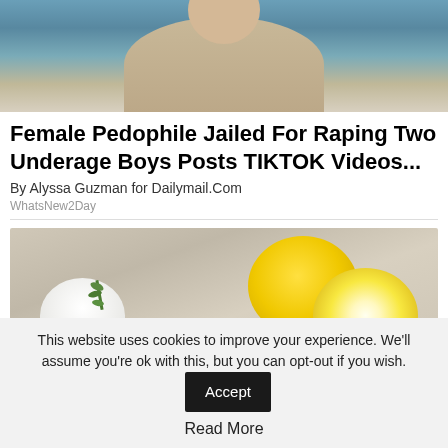[Figure (photo): Top portion of a person's face/head visible against a blue background, cropped at chin level]
Female Pedophile Jailed For Raping Two Underage Boys Posts TIKTOK Videos...
By Alyssa Guzman for Dailymail.Com
WhatsNew2Day
[Figure (photo): Photo of lemons and a white bowl with a herb/rosemary sprig on a wooden surface]
This website uses cookies to improve your experience. We'll assume you're ok with this, but you can opt-out if you wish.
Accept
Read More